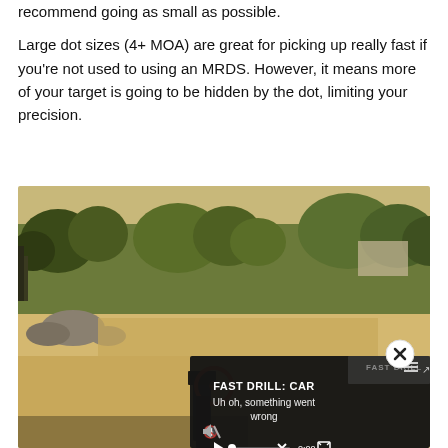recommend going as small as possible.
Large dot sizes (4+ MOA) are great for picking up really fast if you’re not used to using an MRDS. However, it means more of your target is going to be hidden by the dot, limiting your precision.
[Figure (photo): Outdoor shooting range scene viewed through a red dot sight on a firearm. The background shows trees, shrubs, and sandy desert terrain under daylight. Overlaid on the lower-right is a dark video player UI with the text 'FAST DRILL: CAR' and an error message 'Uh oh, something went wrong', with a play button, progress bar, and fullscreen button. A circular close (x) button appears at the top-right of the overlay.]